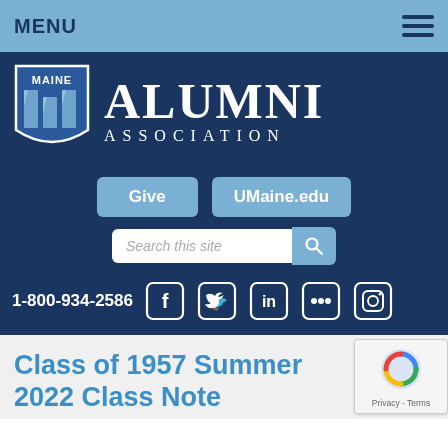MENU
[Figure (logo): Maine Alumni Association logo with shield and large ALUMNI ASSOCIATION text on dark blue background]
Give   UMaine.edu   Search this site
1-800-934-2586
Class of 1957 Summer 2022 Class Note